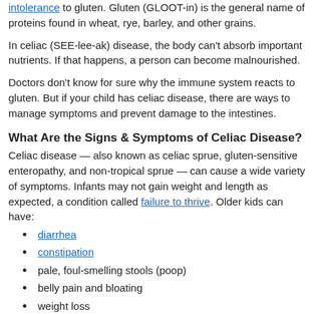intolerance to gluten. Gluten (GLOOT-in) is the general name of proteins found in wheat, rye, barley, and other grains.
In celiac (SEE-lee-ak) disease, the body can't absorb important nutrients. If that happens, a person can become malnourished.
Doctors don't know for sure why the immune system reacts to gluten. But if your child has celiac disease, there are ways to manage symptoms and prevent damage to the intestines.
What Are the Signs & Symptoms of Celiac Disease?
Celiac disease — also known as celiac sprue, gluten-sensitive enteropathy, and non-tropical sprue — can cause a wide variety of symptoms. Infants may not gain weight and length as expected, a condition called failure to thrive. Older kids can have:
diarrhea
constipation
pale, foul-smelling stools (poop)
belly pain and bloating
weight loss
tiredness
headaches
painful skin rashes (usually in older teens and adults), especially around the elbows and knees
Some people don't have any symptoms.